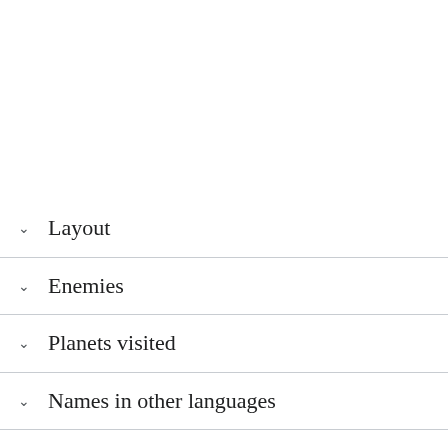Layout
Enemies
Planets visited
Names in other languages